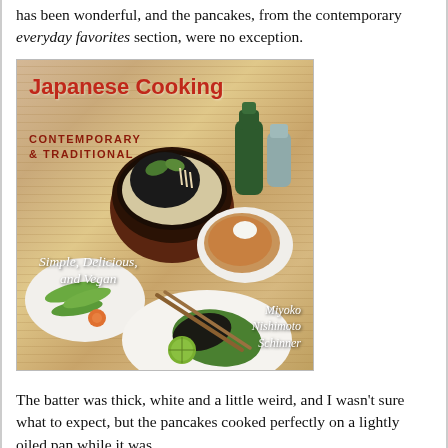has been wonderful, and the pancakes, from the contemporary everyday favorites section, were no exception.
[Figure (photo): Book cover of 'Japanese Cooking: Contemporary & Traditional' by Miyoko Nishimoto Schinner. Subtitle reads 'Simple, Delicious, and Vegan'. Shows various Japanese vegan dishes on a bamboo mat background.]
The batter was thick, white and a little weird, and I wasn't sure what to expect, but the pancakes cooked perfectly on a lightly oiled pan while it was...